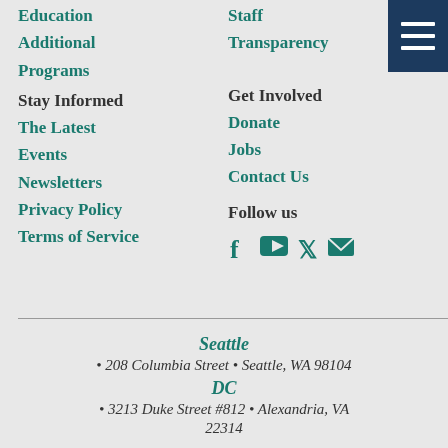Education
Staff
Additional
Transparency
Programs
Stay Informed
Get Involved
The Latest
Donate
Events
Jobs
Newsletters
Contact Us
Privacy Policy
Follow us
Terms of Service
[Figure (other): Social media icons: Facebook, YouTube, Twitter, Email]
Seattle
• 208 Columbia Street • Seattle, WA 98104
DC
• 3213 Duke Street #812 • Alexandria, VA
22314